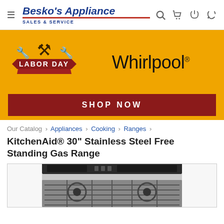Besko's Appliance SALES & SERVICE
[Figure (screenshot): Labor Day sale banner with Whirlpool logo on orange background, with SHOP NOW button]
Our Catalog › Appliances › Cooking › Ranges ›
KitchenAid® 30" Stainless Steel Free Standing Gas Range
[Figure (photo): KitchenAid stainless steel free standing gas range, top portion visible showing control panel and grates]